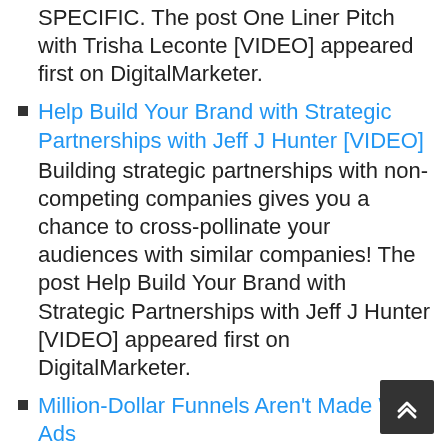SPECIFIC. The post One Liner Pitch with Trisha Leconte [VIDEO] appeared first on DigitalMarketer.
Help Build Your Brand with Strategic Partnerships with Jeff J Hunter [VIDEO]
Building strategic partnerships with non-competing companies gives you a chance to cross-pollinate your audiences with similar companies! The post Help Build Your Brand with Strategic Partnerships with Jeff J Hunter [VIDEO] appeared first on DigitalMarketer.
Million-Dollar Funnels Aren't Made With Ads
Community can decrease costs and increase revenue through higher